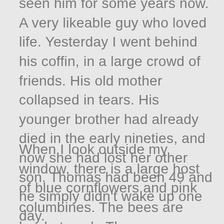seen him for some years now. A very likeable guy who loved life. Yesterday I went behind his coffin, in a large crowd of friends. His old mother collapsed in tears. His younger brother had already died in the early nineties, and now she had lost her other son. Thomas had been 49 and he simply didn't wake up one day.
When I look outside my window, there is a large host of blue cornflowers and pink columbines. The bees are hard at work. There are birdcalls from the trees opposite the small street. The dark